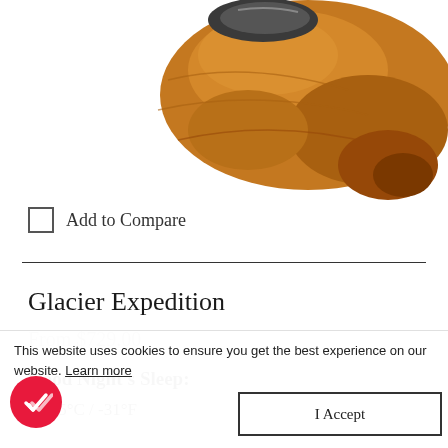[Figure (photo): Partial view of an orange/rust colored sleeping bag, shown from above, cropped at the top of the page]
Add to Compare
Glacier Expedition
From $729.00
Good Night's Sleep:
-35°C / -31°F
This website uses cookies to ensure you get the best experience on our website. Learn more
I Accept